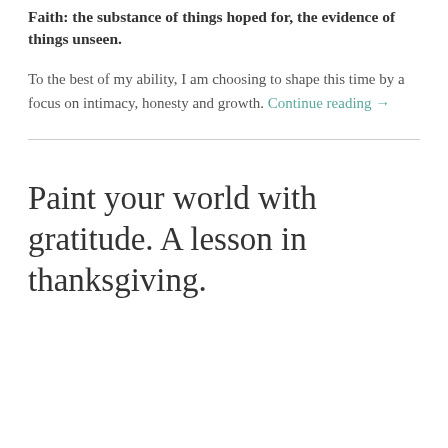Faith: the substance of things hoped for, the evidence of things unseen.
To the best of my ability, I am choosing to shape this time by a focus on intimacy, honesty and growth. Continue reading →
Paint your world with gratitude. A lesson in thanksgiving.